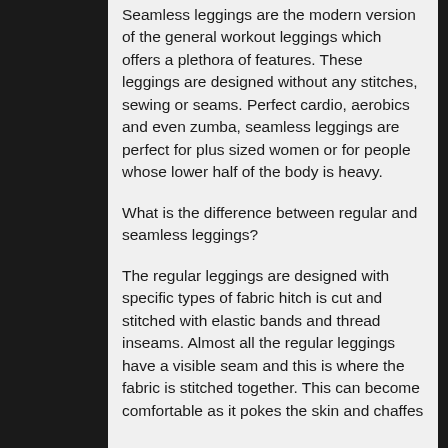Seamless leggings are the modern version of the general workout leggings which offers a plethora of features. These leggings are designed without any stitches, sewing or seams. Perfect cardio, aerobics and even zumba, seamless leggings are perfect for plus sized women or for people whose lower half of the body is heavy.
What is the difference between regular and seamless leggings?
The regular leggings are designed with specific types of fabric hitch is cut and stitched with elastic bands and thread inseams. Almost all the regular leggings have a visible seam and this is where the fabric is stitched together. This can become comfortable as it pokes the skin and chaffes